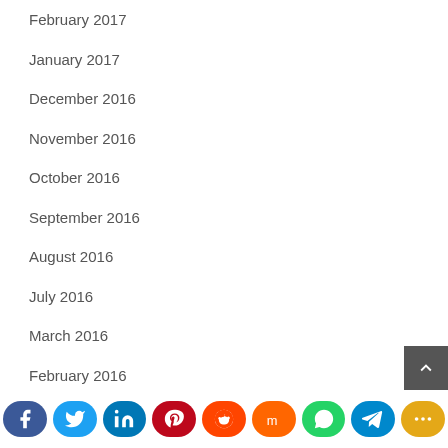February 2017
January 2017
December 2016
November 2016
October 2016
September 2016
August 2016
July 2016
March 2016
February 2016
January 2016
November 2015
October 2015
September 2015